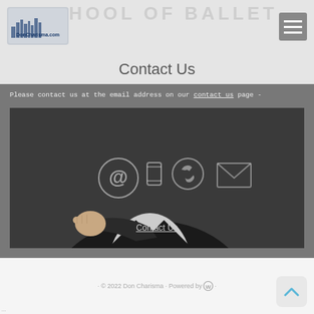[Figure (logo): DonCharisma.com logo in top left corner]
SCHOOL OF BALLET
Contact Us
Please contact us at the email address on our contact us page -
[Figure (photo): Man in suit pointing finger toward camera with floating contact icons: @ email symbol, mobile phone, phone receiver, and envelope/mail icon]
Contact Us
© 2022 Don Charisma · Powered by WordPress ·